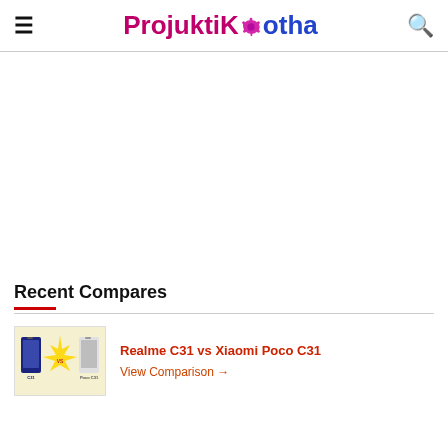ProjuktiKotha
[Figure (other): White advertisement/banner space]
Recent Compares
[Figure (photo): Thumbnail image showing Realme C31 vs Xiaomi Poco C31 phone comparison]
Realme C31 vs Xiaomi Poco C31
View Comparison →